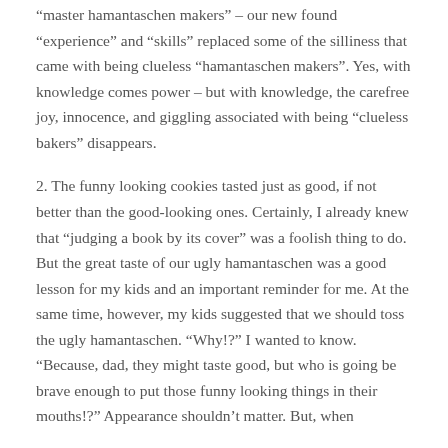“master hamantaschen makers” – our new found “experience” and “skills” replaced some of the silliness that came with being clueless “hamantaschen makers”. Yes, with knowledge comes power – but with knowledge, the carefree joy, innocence, and giggling associated with being “clueless bakers” disappears.
2. The funny looking cookies tasted just as good, if not better than the good-looking ones. Certainly, I already knew that “judging a book by its cover” was a foolish thing to do. But the great taste of our ugly hamantaschen was a good lesson for my kids and an important reminder for me. At the same time, however, my kids suggested that we should toss the ugly hamantaschen. “Why!?” I wanted to know. “Because, dad, they might taste good, but who is going be brave enough to put those funny looking things in their mouths!?” Appearance shouldn’t matter. But, when